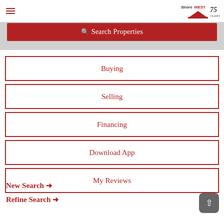ShoreWest 75 Years logo and hamburger menu
[Figure (screenshot): Search Properties red button bar]
Buying
Selling
Financing
Download App
My Reviews
New Search →
Refine Search →